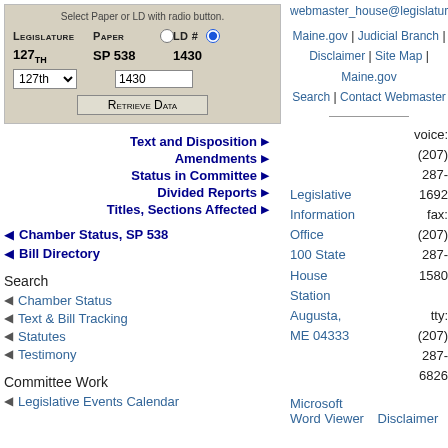[Figure (screenshot): Web form for selecting legislature paper or LD number with radio buttons, dropdown, text input, and Retrieve Data button]
Text and Disposition ▶
Amendments ▶
Status in Committee ▶
Divided Reports ▶
Titles, Sections Affected ▶
◀ Chamber Status, SP 538
◀ Bill Directory
Search
◀ Chamber Status
◀ Text & Bill Tracking
◀ Statutes
◀ Testimony
Committee Work
◀ Legislative Events Calendar
webmaster_house@legislature.maine
Maine.gov | Judicial Branch | Disclaimer | Site Map | Maine.gov Search | Contact Webmaster
Legislative Information Office
100 State House Station
Augusta, ME 04333
voice: (207) 287-1692
fax: (207) 287-1580
tty: (207) 287-6826
Microsoft Word Viewer   Disclaimer